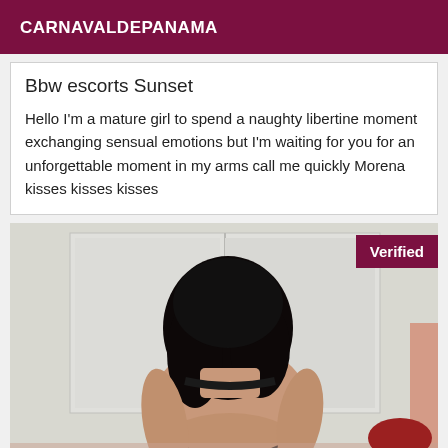CARNAVALDEPANAMA
Bbw escorts Sunset
Hello I'm a mature girl to spend a naughty libertine moment exchanging sensual emotions but I'm waiting for you for an unforgettable moment in my arms call me quickly Morena kisses kisses kisses
[Figure (photo): Photo of a woman seen from behind with dark curly hair, wearing black lingerie, kneeling on a bed with white walls and closet in background. A 'Verified' badge appears in the top right corner.]